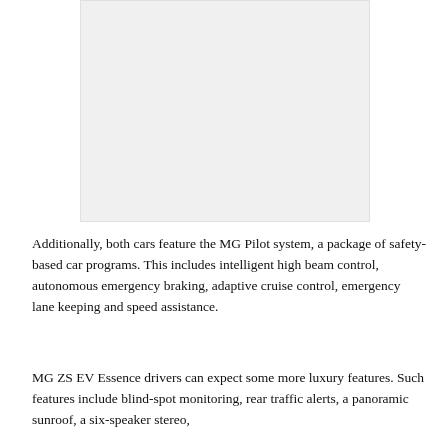[Figure (photo): A placeholder image area (light gray rectangle) representing a photo of a car or related subject.]
Additionally, both cars feature the MG Pilot system, a package of safety-based car programs. This includes intelligent high beam control, autonomous emergency braking, adaptive cruise control, emergency lane keeping and speed assistance.
MG ZS EV Essence drivers can expect some more luxury features. Such features include blind-spot monitoring, rear traffic alerts, a panoramic sunroof, a six-speaker stereo,